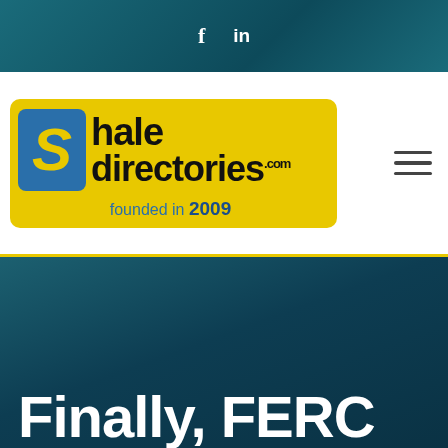f  in
[Figure (logo): Shale Directories .com logo on yellow background with blue S icon, founded in 2009]
Finally, FERC